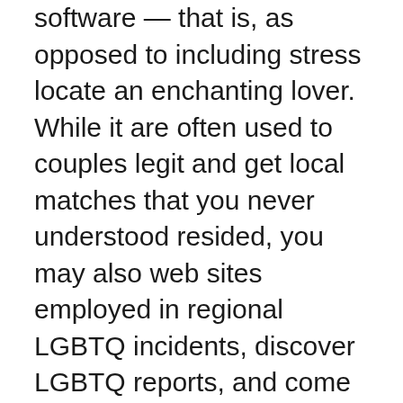software — that is, as opposed to including stress locate an enchanting lover. While it are often used to couples legit and get local matches that you never understood resided, you may also web sites employed in regional LGBTQ incidents, discover LGBTQ reports, and come up with family due to their social-mass media one feed. And you may queer females essentially have one: The girl. Luckily, The girl is a non-offensive thaicupid profiles, affiliate dating software ideal for anyone seeking to much time-identity matchmaking along with those and require a more, uh, brief arrangement. Even in the event Tinder